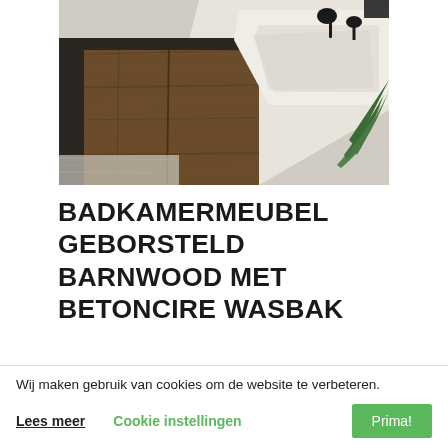[Figure (photo): A bathroom vanity scene featuring a brushed barnwood cabinet, a white concrete (betoncire) sink/washbasin, black faucet fixtures, and a green palm leaf in the background. Close-up overhead angle.]
BADKAMERMEUBEL GEBORSTELD BARNWOOD MET BETONCIRE WASBAK
Wij maken gebruik van cookies om de website te verbeteren.
Lees meer   Cookie instellingen   Prima!